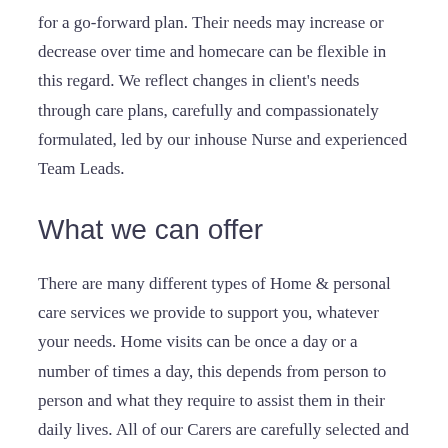for a go-forward plan. Their needs may increase or decrease over time and homecare can be flexible in this regard. We reflect changes in client's needs through care plans, carefully and compassionately formulated, led by our inhouse Nurse and experienced Team Leads.
What we can offer
There are many different types of Home & personal care services we provide to support you, whatever your needs. Home visits can be once a day or a number of times a day, this depends from person to person and what they require to assist them in their daily lives. All of our Carers are carefully selected and vetted by An Garda Siochana.